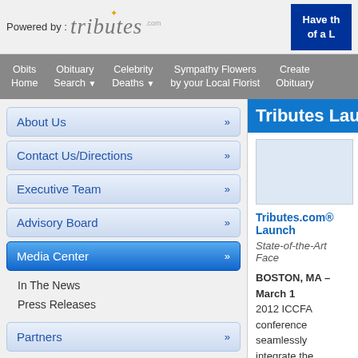Powered by: tributes
[Figure (screenshot): Top right banner: 'Have the of a L' on dark blue background]
Obits Home
Obituary Search ▼
Celebrity Deaths ▼
Sympathy Flowers by your Local Florist
Create Obituary
About Us »
Contact Us/Directions »
Executive Team »
Advisory Board »
Media Center »
In The News
Press Releases
Partners »
Tributes Launc
Tributes.com® Launch
State-of-the-Art Face
BOSTON, MA – March 1, 2012 ICCFA conference seamlessly integrate the interactivity of the leadin